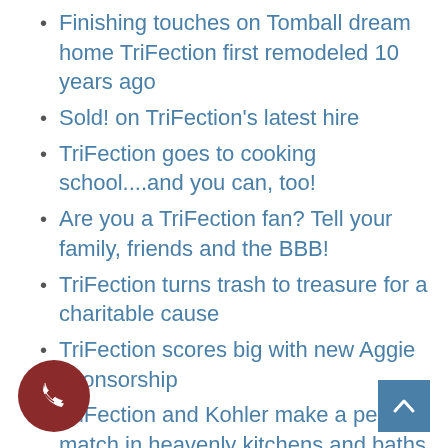Finishing touches on Tomball dream home TriFection first remodeled 10 years ago
Sold! on TriFection's latest hire
TriFection goes to cooking school....and you can, too!
Are you a TriFection fan? Tell your family, friends and the BBB!
TriFection turns trash to treasure for a charitable cause
TriFection scores big with new Aggie sponsorship
TriFection and Kohler make a perfect match in heavenly kitchens and baths
TriFection strikes Gould with its latest hire